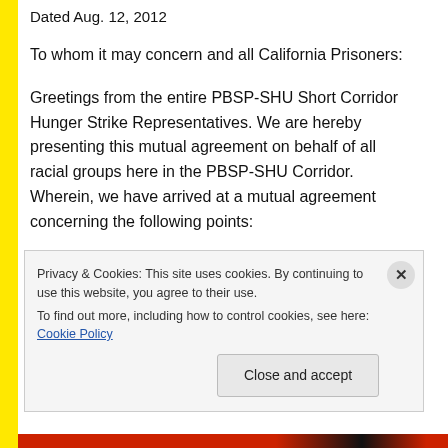Dated Aug. 12, 2012
To whom it may concern and all California Prisoners:
Greetings from the entire PBSP-SHU Short Corridor Hunger Strike Representatives. We are hereby presenting this mutual agreement on behalf of all racial groups here in the PBSP-SHU Corridor. Wherein, we have arrived at a mutual agreement concerning the following points:
Privacy & Cookies: This site uses cookies. By continuing to use this website, you agree to their use.
To find out more, including how to control cookies, see here: Cookie Policy